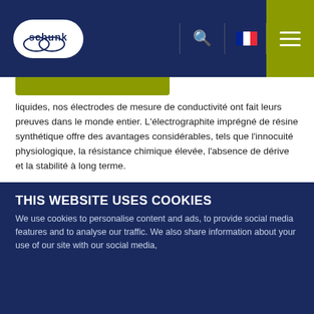Schunk website header with logo, search, French flag language selector, and hamburger menu
liquides, nos électrodes de mesure de conductivité ont fait leurs preuves dans le monde entier. L'électrographite imprégné de résine synthétique offre des avantages considérables, tels que l'innocuité physiologique, la résistance chimique élevée, l'absence de dérive et la stabilité à long terme.
Le contact électrique des électrodes peut être obtenu via des câbles incorporés ou par soudure à des couches de cuivre et d'étain préalablement galvanisées.
Ces produits offrent les avantages suivants :
Électrographite imprégné de résine synthétique
THIS WEBSITE USES COOKIES
We use cookies to personalise content and ads, to provide social media features and to analyse our traffic. We also share information about your use of our site with our social media,